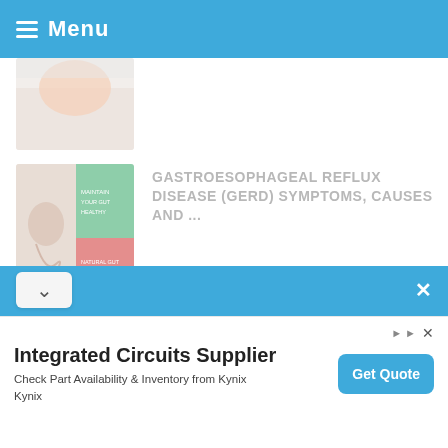Menu
[Figure (photo): Partial article thumbnail image at top, cropped]
GASTROESOPHAGEAL REFLUX DISEASE (GERD) SYMPTOMS, CAUSES AND ...
Dec 12, 2019  0
[Figure (photo): GERD article thumbnail showing illustrated digestive system with green and pink color blocks and 'GERD' text]
5 HEALTHY USES OF HYDROGEN PEROXIDE
[Figure (photo): Partial thumbnail for hydrogen peroxide article, light peach and blue tones]
SUBSCRIBE TO OUR NEWSLETTER
Integrated Circuits Supplier
Check Part Availability & Inventory from Kynix
Kynix
Get Quote